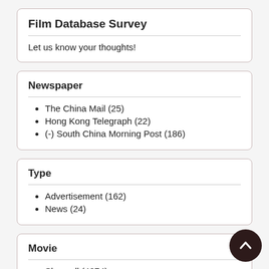Film Database Survey
Let us know your thoughts!
Newspaper
The China Mail (25)
Hong Kong Telegraph (22)
(-) South China Morning Post (186)
Type
Advertisement (162)
News (24)
Movie
Show all (4074)
Comic films (323)
Comics (268)
British Gazette (196)